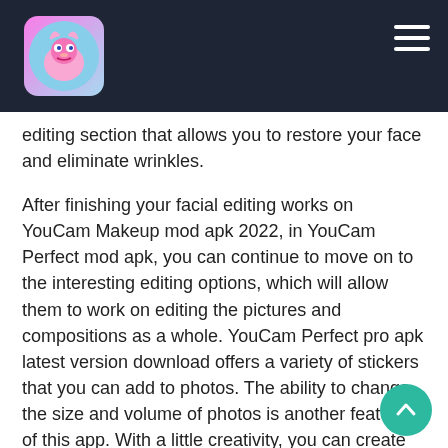[App logo and navigation header bar]
editing section that allows you to restore your face and eliminate wrinkles.
After finishing your facial editing works on YouCam Makeup mod apk 2022, in YouCam Perfect mod apk, you can continue to move on to the interesting editing options, which will allow them to work on editing the pictures and compositions as a whole. YouCam Perfect pro apk latest version download offers a variety of stickers that you can add to photos. The ability to change the size and volume of photos is another feature of this app. With a little creativity, you can create masterpieces and wonderful photos with this YouCam Perfect mod apk. And finally, you can share them with your friends on different social platforms. Apkmaza.org has unlocked the version of this Android application for free download on its server.